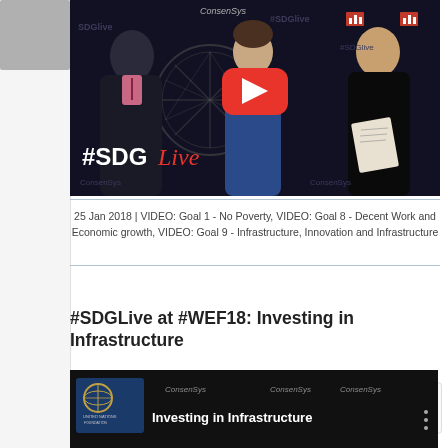[Figure (screenshot): YouTube video thumbnail showing three people seated in discussion against a dark backdrop with SDGLive branding. Large red YouTube play button in center. #SDGLive text with italic red 'Live' in bottom left. Background shows repeating #SDGLive and ConsenSys logos.]
25 Jan 2018 | VIDEO: Goal 1 - No Poverty, VIDEO: Goal 8 - Decent Work and Economic growth, VIDEO: Goal 9 - Infrastructure, Innovation and Infrastructure
#SDGLive at #WEF18: Investing in Infrastructure
[Figure (screenshot): Bottom portion of a second YouTube video thumbnail showing 'Investing in Infrastructure' text with United Nations Foundation logo on left and ConsenSys branding. Three vertical dots menu visible on right edge.]